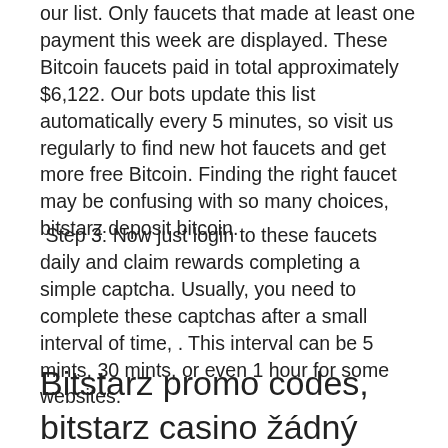our list. Only faucets that made at least one payment this week are displayed. These Bitcoin faucets paid in total approximately $6,122. Our bots update this list automatically every 5 minutes, so visit us regularly to find new hot faucets and get more free Bitcoin. Finding the right faucet may be confusing with so many choices, bitstarz deposit bitcoin.
Step 3: Now just login to these faucets daily and claim rewards completing a simple captcha. Usually, you need to complete these captchas after a small interval of time, . This interval can be 5 mints, 30 mints, or even 1 hour for some websites.
Bitstarz promo codes, bitstarz casino žádný vkladový bonus codes